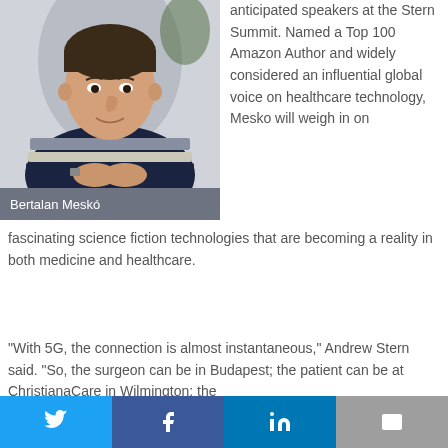[Figure (photo): Portrait photo of Bertalan Meskó, a man in a striped sweater with hands clasped]
Bertalan Meskó
anticipated speakers at the Stern Summit. Named a Top 100 Amazon Author and widely considered an influential global voice on healthcare technology, Mesko will weigh in on fascinating science fiction technologies that are becoming a reality in both medicine and healthcare.
“With 5G, the connection is almost instantaneous,” Andrew Stern said. “So, the surgeon can be in Budapest; the patient can be at ChristianaCare in Wilmington; the